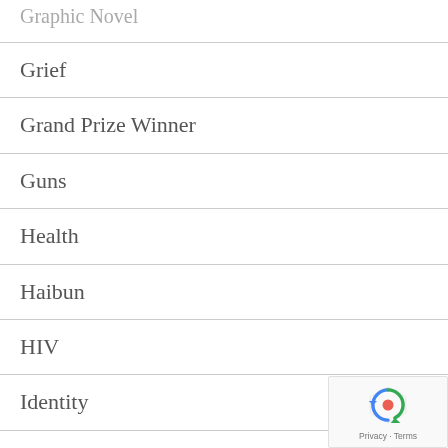Graphic Novel
Grief
Grand Prize Winner
Guns
Health
Haibun
HIV
Identity
Immigrants
Incarceration